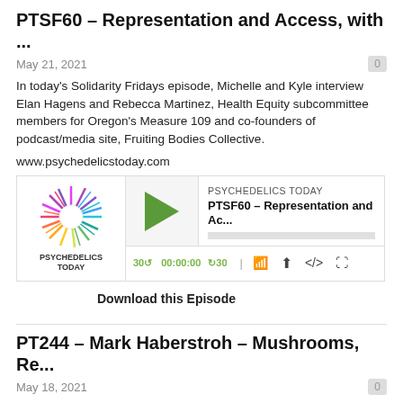PTSF60 – Representation and Access, with ...
May 21, 2021
In today's Solidarity Fridays episode, Michelle and Kyle interview Elan Hagens and Rebecca Martinez, Health Equity subcommittee members for Oregon's Measure 109 and co-founders of podcast/media site, Fruiting Bodies Collective.
www.psychedelicstoday.com
[Figure (screenshot): Podcast player widget for Psychedelics Today showing PTSF60 episode with play button, progress bar, and controls including 30-second skip, timestamp 00:00:00, and sharing icons.]
Download this Episode
PT244 – Mark Haberstroh – Mushrooms, Re...
May 18, 2021
In this episode, Joe and Kyle interview mushroom enthusiast Mark Haberstroh, who talks about realizing his spiritual path and what he's learned